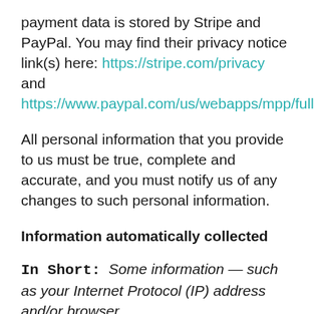payment data is stored by Stripe and PayPal. You may find their privacy notice link(s) here: https://stripe.com/privacy and https://www.paypal.com/us/webapps/mpp/full.
All personal information that you provide to us must be true, complete and accurate, and you must notify us of any changes to such personal information.
Information automatically collected
In Short: Some information — such as your Internet Protocol (IP) address and/or browser